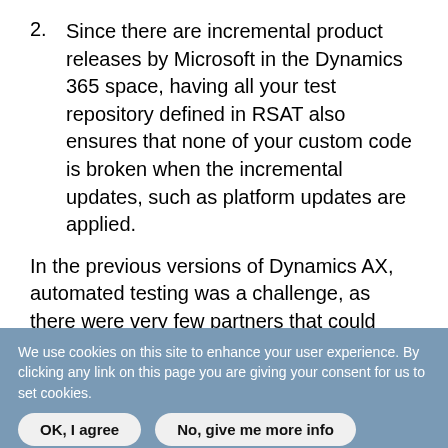2. Since there are incremental product releases by Microsoft in the Dynamics 365 space, having all your test repository defined in RSAT also ensures that none of your custom code is broken when the incremental updates, such as platform updates are applied.
In the previous versions of Dynamics AX, automated testing was a challenge, as there were very few partners that could support automated testing for the Dynamics AX applications. With RSAT now a readily available to use tool with D365FO, customers can define and automate all the test cases.
We use cookies on this site to enhance your user experience. By clicking any link on this page you are giving your consent for us to set cookies.